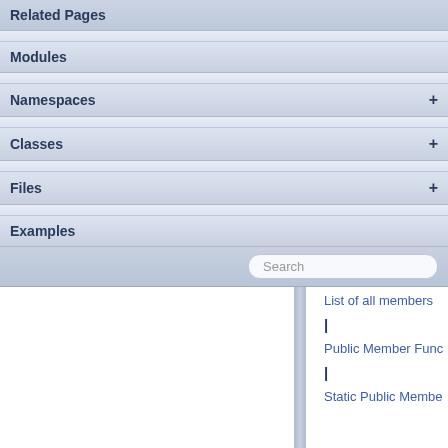Related Pages
Modules
Namespaces
Classes
Files
Examples
List of all members
Public Member Func
Static Public Membe
Page generated by Doxygen 1.8.14 for MRPT 1.9.9 Git: 7d5e6d718
Fri Aug 24 01:51:28 2018 +0200 at lun nov 2 08:35:50 CET 2020